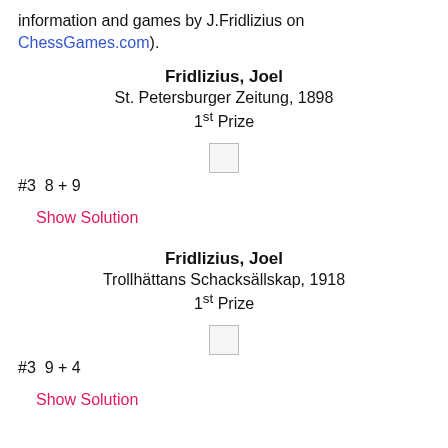information and games by J.Fridlizius on ChessGames.com).
Fridlizius, Joel
St. Petersburger Zeitung, 1898
1st Prize
[Figure (other): Chess board placeholder (small square)]
#3  8 + 9
Show Solution
Fridlizius, Joel
Trollhättans Schacksällskap, 1918
1st Prize
[Figure (other): Chess board placeholder (small square)]
#3  9 + 4
Show Solution